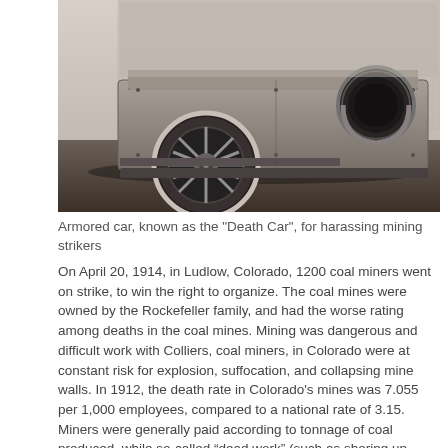[Figure (photo): Black and white historical photograph of an armored car (known as the 'Death Car') used for harassing mining strikers. The vehicle is shown from the side, featuring a large spoked wheel on the left and a round porthole/gun port on the upper right. The vehicle has a boxy armored body.]
Armored car, known as the "Death Car", for harassing mining strikers
On April 20, 1914, in Ludlow, Colorado, 1200 coal miners went on strike, to win the right to organize. The coal mines were owned by the Rockefeller family, and had the worse rating among deaths in the coal mines. Mining was dangerous and difficult work with Colliers, coal miners, in Colorado were at constant risk for explosion, suffocation, and collapsing mine walls. In 1912, the death rate in Colorado's mines was 7.055 per 1,000 employees, compared to a national rate of 3.15. Miners were generally paid according to tonnage of coal produced, while so-called “dead work” (such as shoring up unstable roofs) was often unpaid. To stop the organization of unions and the threat of boycotts, strikes, walk-outs, and collective bargaining, the Rockefellers were able to get support from the Colorado National Guard. An unscrupulous